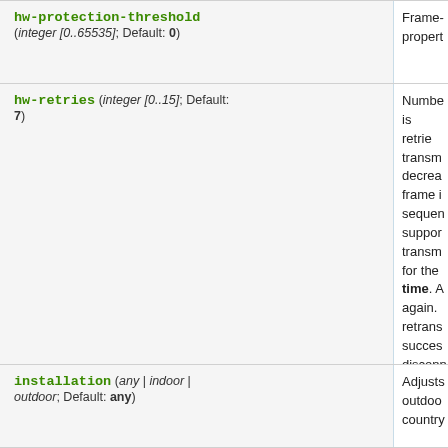| Parameter | Description |
| --- | --- |
| hw-protection-threshold (integer [0..65535]; Default: 0) | Frame- propert... |
| hw-retries (integer [0..15]; Default: 7) | Number is retrie transm decrea frame i sequen suppor transm for the time. A again. T retrans succes disconn timeout discard frame- |
| installation (any | indoor | outdoor; Default: any) | Adjusts outdoo country |